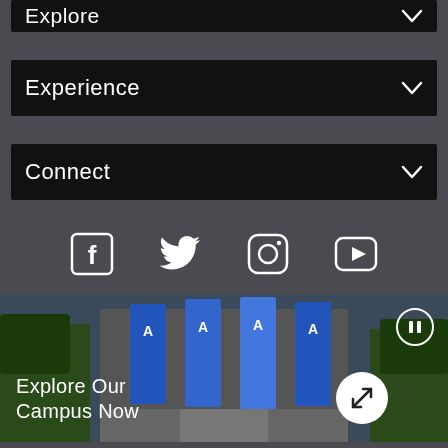Explore
Experience
Connect
[Figure (infographic): Social media icons row: Facebook, Twitter, Instagram, YouTube]
[Figure (photo): University campus entrance with blue banners bearing the school logo, surrounded by green trees. Text overlay: Explore Our Campus Now. Pause button top right, expand button bottom center-right.]